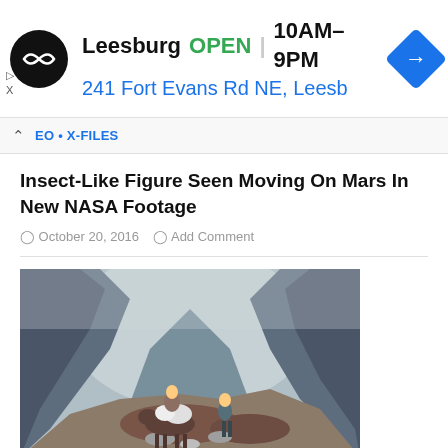[Figure (infographic): Advertisement banner for a store location in Leesburg showing logo, OPEN status, hours 10AM-9PM, address 241 Fort Evans Rd NE, Leesb, and a blue navigation arrow icon]
EO • X-FILES
Insect-Like Figure Seen Moving On Mars In New NASA Footage
October 20, 2016  Add Comment
[Figure (photo): Photograph of two people and a donkey carrying bags on a rocky mountain trail, with steep rocky cliffs and a misty valley in the background]